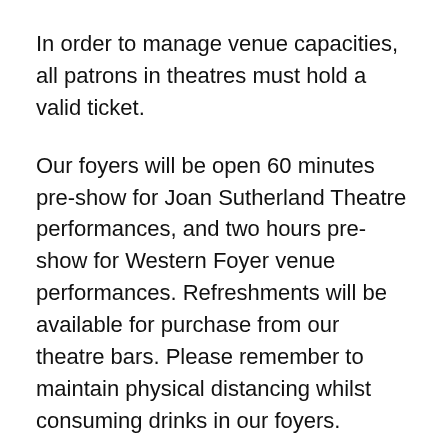In order to manage venue capacities, all patrons in theatres must hold a valid ticket.
Our foyers will be open 60 minutes pre-show for Joan Sutherland Theatre performances, and two hours pre-show for Western Foyer venue performances. Refreshments will be available for purchase from our theatre bars. Please remember to maintain physical distancing whilst consuming drinks in our foyers.
All Sydney Opera House foyers are pram accessible, with lifts to the main and western foyers. The public lift to all foyers is accessible